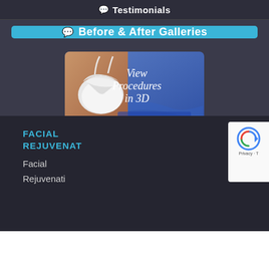Testimonials
Before & After Galleries
[Figure (screenshot): Promotional banner showing a woman in a white bikini top with text 'View Procedures in 3D' and 'WATCH VIDEO' button on a blue gradient background]
FACIAL REJUVENAT
Facial
Rejuvenati